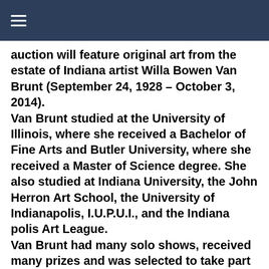☰
auction will feature original art from the estate of Indiana artist Willa Bowen Van Brunt (September 24, 1928 – October 3, 2014). Van Brunt studied at the University of Illinois, where she received a Bachelor of Fine Arts and Butler University, where she received a Master of Science degree. She also studied at Indiana University, the John Herron Art School, the University of Indianapolis, I.U.P.U.I., and the Indiana polis Art League. Van Brunt had many solo shows, received many prizes and was selected to take part in many juried area, state, regional and national art exhibitions for her work in watercolor, mixed media and photography.